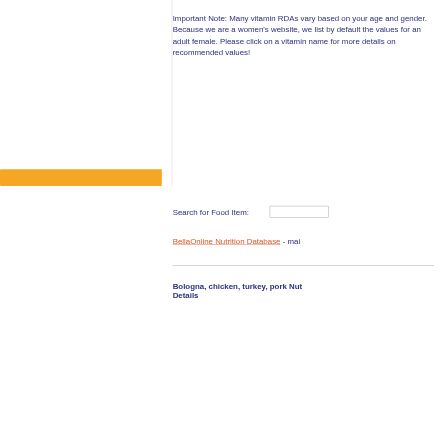Important Note: Many vitamin RDAs vary based on your age and gender. Because we are a women's website, we list by default the values for an adult female. Please click on a vitamin name for more details on recommended values!
Search for Food Item:
BellaOnline Nutrition Database - mai...
Bologna, chicken, turkey, pork Nut... Details